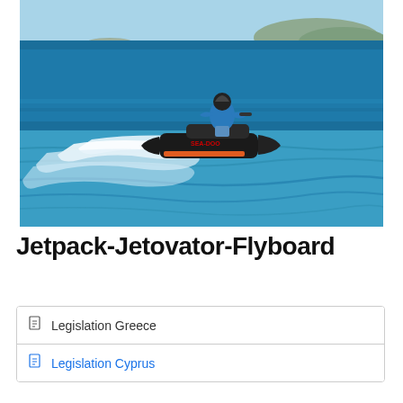[Figure (photo): A person riding a jet ski (Sea-Doo) on blue ocean water, with a rocky island visible in the background and white wake behind the watercraft.]
Jetpack-Jetovator-Flyboard
Legislation Greece
Legislation Cyprus